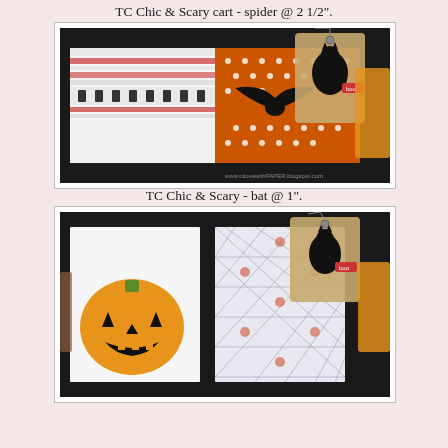TC Chic & Scary cart - spider @ 2 1/2".
[Figure (photo): Halloween craft photo showing a mini book/album with Halloween themed decorative paper and gift tags featuring a black cat, bat, and orange pumpkin elements. Watermark: www.inlovewithPAPER.blogspot.com]
TC Chic & Scary - bat @ 1".
[Figure (photo): Halloween craft photo showing a mini book/album with a jack-o-lantern pumpkin cutout and diamond pattern paper, with Halloween gift tags featuring a black cat.]